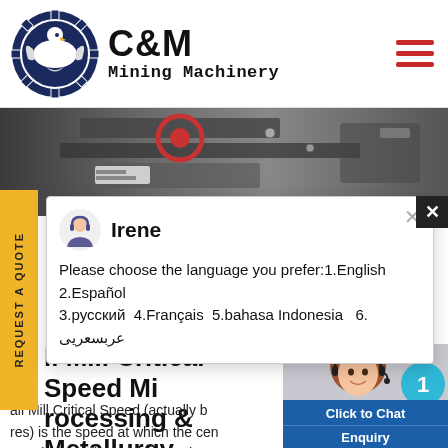[Figure (logo): C&M Mining Machinery logo with eagle gear emblem in dark blue circle]
C&M Mining Machinery
[Figure (photo): Industrial mining machinery photo strip showing mechanical equipment in grayscale]
[Figure (screenshot): Chat popup with agent Irene asking user to choose language: 1.English 2.Español 3.русский 4.Français 5.bahasa Indonesia 6. عربسعريى]
ll Mill Critical Speed Mi
rocessing & Metallurgy
all Mill Critical Speed (actually b
res) is the speed at which the cen
equal gravitational forces at the m
surface and no balls will fall from it